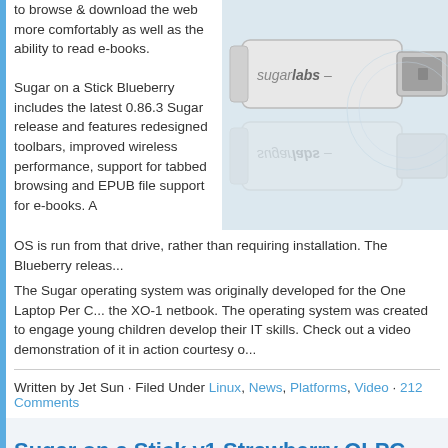to browse & download the web more comfortably as well as the ability to read e-books.
[Figure (photo): USB flash drive with Sugarlabs branding, shown with its reflection on a white surface]
Sugar on a Stick Blueberry includes the latest 0.86.3 Sugar release and features redesigned toolbars, improved wireless performance, support for tabbed browsing and EPUB file support for e-books. A OS is run from that drive, rather than requiring installation. The Blueberry releas...
The Sugar operating system was originally developed for the One Laptop Per C... the XO-1 netbook. The operating system was created to engage young children develop their IT skills. Check out a video demonstration of it in action courtesy o...
Written by Jet Sun · Filed Under Linux, News, Platforms, Video · 212 Comments
Sugar on a Stick v1 Strawberry OLPC download
June 24, 2009 at 6:12 pm
The Sugar operating system was originally developed for the One Laptop Per C...